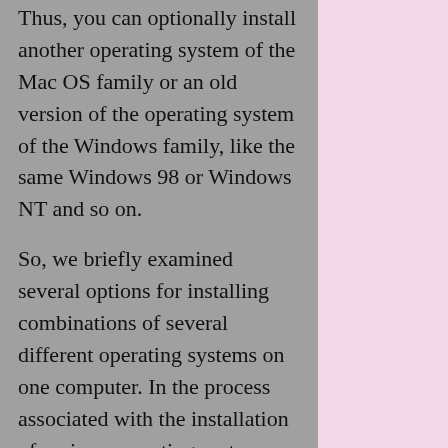Thus, you can optionally install another operating system of the Mac OS family or an old version of the operating system of the Windows family, like the same Windows 98 or Windows NT and so on.
So, we briefly examined several options for installing combinations of several different operating systems on one computer. In the process associated with the installation of various operating systems, experiments, the PC user should be careful about the choice of software products installed by